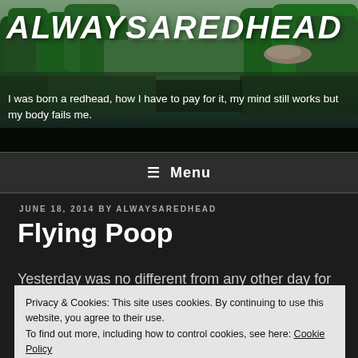[Figure (photo): Blog header image showing a lake with dense green forest trees reflected in calm water, dark/moody tones]
ALWAYSAREDHEAD
I was born a redhead, how I have to pay for it, my mind still works but my body fails me.
≡ Menu
JUNE 18, 2014 BY ALWAYSAREDHEAD
Flying Poop
Yesterday was no different from any other day for our eldest daughter, she rose at 6 a.m., had a quick breakfast
Privacy & Cookies: This site uses cookies. By continuing to use this website, you agree to their use.
To find out more, including how to control cookies, see here: Cookie Policy
Close and accept